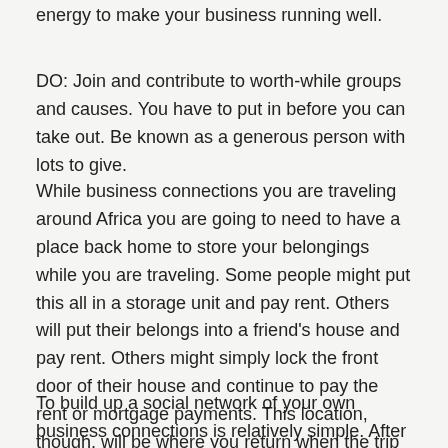energy to make your business running well.
DO: Join and contribute to worth-while groups and causes. You have to put in before you can take out. Be known as a generous person with lots to give.
While business connections you are traveling around Africa you are going to need to have a place back home to store your belongings while you are traveling. Some people might put this all in a storage unit and pay rent. Others will put their belongs into a friend's house and pay rent. Others might simply lock the front door of their house and continue to pay the rent or mortgage payments. This location, though, will be where you return when the trip is finished.
To build up a social network of your own business connections is relatively simple. After free and immediate approval, you are a LinkenIn member. Then you are taken